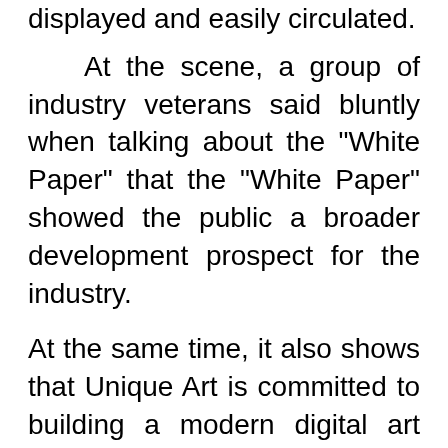displayed and easily circulated.
At the scene, a group of industry veterans said bluntly when talking about the "White Paper" that the "White Paper" showed the public a broader development prospect for the industry.
At the same time, it also shows that Unique Art is committed to building a modern digital art market system with orderly competition, integrity and law-abiding, and strong supervision, and its determination and action to promote the professional, standardized and standardized development of the digital art industry.